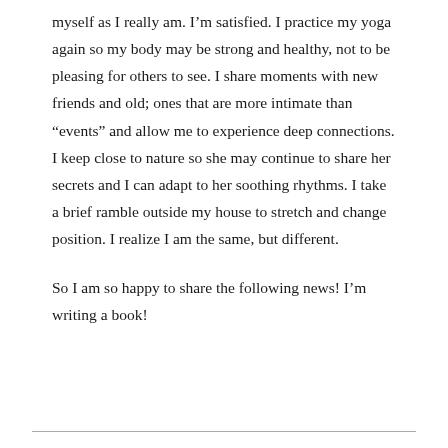myself as I really am. I'm satisfied. I practice my yoga again so my body may be strong and healthy, not to be pleasing for others to see. I share moments with new friends and old; ones that are more intimate than “events” and allow me to experience deep connections. I keep close to nature so she may continue to share her secrets and I can adapt to her soothing rhythms. I take a brief ramble outside my house to stretch and change position. I realize I am the same, but different.
So I am so happy to share the following news! I’m writing a book!